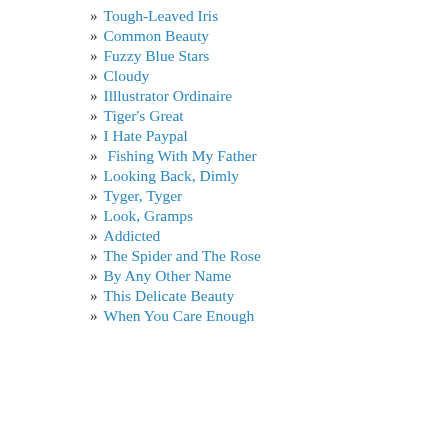» Tough-Leaved Iris
» Common Beauty
» Fuzzy Blue Stars
» Cloudy
» Illlustrator Ordinaire
» Tiger's Great
» I Hate Paypal
»  Fishing With My Father
» Looking Back, Dimly
» Tyger, Tyger
» Look, Gramps
» Addicted
» The Spider and The Rose
» By Any Other Name
» This Delicate Beauty
» When You Care Enough